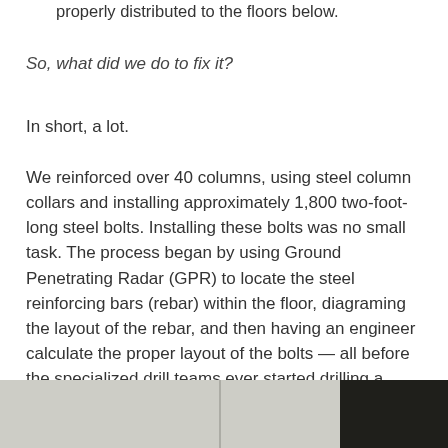properly distributed to the floors below.
So, what did we do to fix it?
In short, a lot.
We reinforced over 40 columns, using steel column collars and installing approximately 1,800 two-foot-long steel bolts. Installing these bolts was no small task. The process began by using Ground Penetrating Radar (GPR) to locate the steel reinforcing bars (rebar) within the floor, diagraming the layout of the rebar, and then having an engineer calculate the proper layout of the bolts — all before the specialized drill teams ever started drilling a single hole.
[Figure (photo): Two photos side by side: left shows a light-colored interior structural area, right shows a darker surface or material detail.]